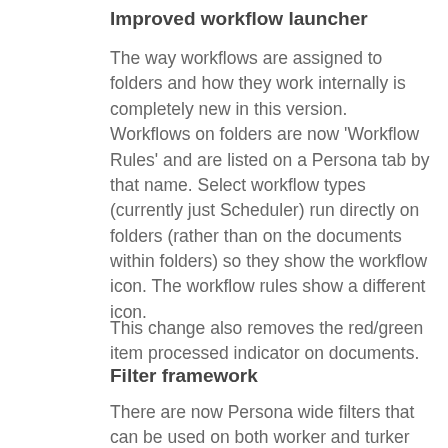Improved workflow launcher
The way workflows are assigned to folders and how they work internally is completely new in this version. Workflows on folders are now 'Workflow Rules' and are listed on a Persona tab by that name. Select workflow types (currently just Scheduler) run directly on folders (rather than on the documents within folders) so they show the workflow icon. The workflow rules show a different icon.
This change also removes the red/green item processed indicator on documents.
Filter framework
There are now Persona wide filters that can be used on both worker and turker tasks to automatically filter results. See the